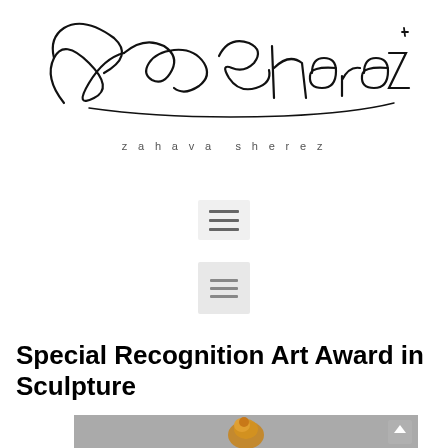[Figure (logo): Zahava Sherez cursive signature logo in black ink on white background, with 'zahava sherez' printed below in spaced sans-serif lowercase letters]
[Figure (other): Hamburger menu icon (three horizontal lines) on light grey background]
[Figure (other): Secondary menu icon (three horizontal lines) on lighter grey background]
Special Recognition Art Award in Sculpture
[Figure (photo): Partial view of a gold/bronze sculpture against a grey background]